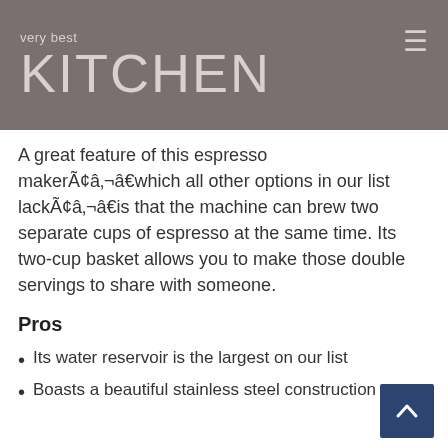very best KITCHEN
A great feature of this espresso makerÃ¢â‚¬â€which all other options in our list lackÃ¢â‚¬â€is that the machine can brew two separate cups of espresso at the same time. Its two-cup basket allows you to make those double servings to share with someone.
Pros
Its water reservoir is the largest on our list
Boasts a beautiful stainless steel construction